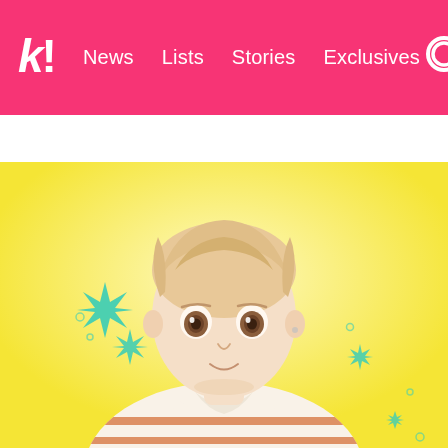k! News Lists Stories Exclusives
BTS BLACKPINK Girls' Generation NCT TWICE aespa
[Figure (illustration): Anime-style illustration of a young male character with blonde/light hair, brown eyes, wearing a white and orange/red striped short-sleeve t-shirt, on a bright yellow background with teal/turquoise star burst decorations]